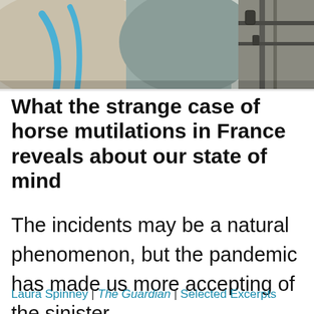[Figure (photo): Close-up photo of horses in a stable, showing horse bodies with blue halter straps and what appears to be stable equipment]
What the strange case of horse mutilations in France reveals about our state of mind
The incidents may be a natural phenomenon, but the pandemic has made us more accepting of the sinister
Laura Spinney | The Guardian | Selected Excerpts